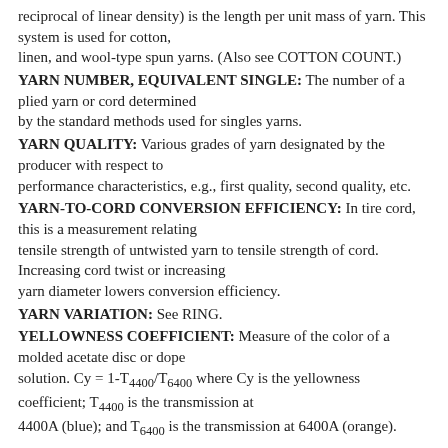reciprocal of linear density) is the length per unit mass of yarn. This system is used for cotton, linen, and wool-type spun yarns. (Also see COTTON COUNT.)
YARN NUMBER, EQUIVALENT SINGLE: The number of a plied yarn or cord determined by the standard methods used for singles yarns.
YARN QUALITY: Various grades of yarn designated by the producer with respect to performance characteristics, e.g., first quality, second quality, etc.
YARN-TO-CORD CONVERSION EFFICIENCY: In tire cord, this is a measurement relating tensile strength of untwisted yarn to tensile strength of cord. Increasing cord twist or increasing yarn diameter lowers conversion efficiency.
YARN VARIATION: See RING.
YELLOWNESS COEFFICIENT: Measure of the color of a molded acetate disc or dope solution. Cy = 1-T4400/T6400 where Cy is the yellowness coefficient; T4400 is the transmission at 4400A (blue); and T6400 is the transmission at 6400A (orange).
YIELD: 1. Number of linear or square yards of fabric per pound of fiber or yarn. 2. The number of finished square yards per pound of greige fabric.
YIELD POINT: Point on the stress-strain curve where the load